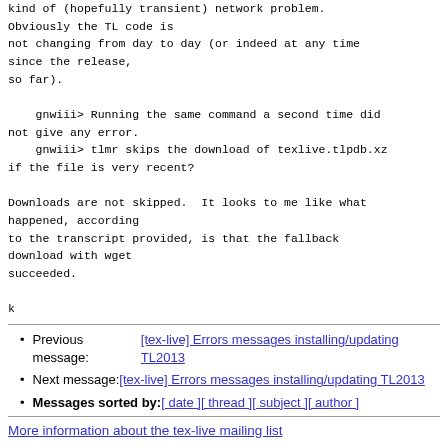kind of (hopefully transient) network problem.
Obviously the TL code is
not changing from day to day (or indeed at any time since the release,
so far).

    gnwiii> Running the same command a second time did not give any error.
    gnwiii> tlmr skips the download of texlive.tlpdb.xz if the file is very recent?

Downloads are not skipped.  It looks to me like what happened, according
to the transcript provided, is that the fallback download with wget
succeeded.

k
Previous message: [tex-live] Errors messages installing/updating TL2013
Next message: [tex-live] Errors messages installing/updating TL2013
Messages sorted by: [ date ] [ thread ] [ subject ] [ author ]
More information about the tex-live mailing list